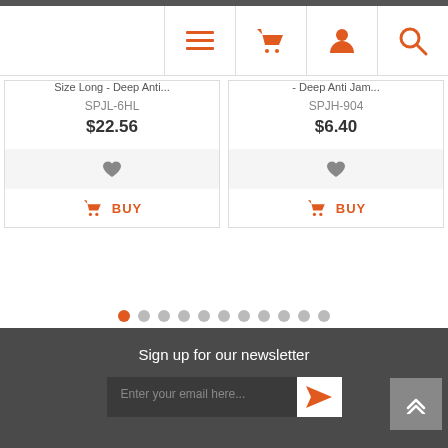Navigation icons: menu, cart, user, search
Size Long - Deep Anti... SPJL-6HL $22.56
- Deep Anti Jam... SPJH-904 $6.40
[Figure (infographic): Pagination dots row: 11 dots, first dot is orange/active, rest are gray]
Sign up for our newsletter
Enter your email here...